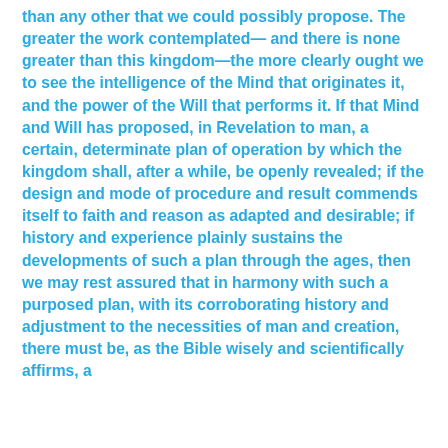...than any other that we could possibly propose. The greater the work contemplated— and there is none greater than this kingdom—the more clearly ought we to see the intelligence of the Mind that originates it, and the power of the Will that performs it. If that Mind and Will has proposed, in Revelation to man, a certain, determinate plan of operation by which the kingdom shall, after a while, be openly revealed; if the design and mode of procedure and result commends itself to faith and reason as adapted and desirable; if history and experience plainly sustains the developments of such a plan through the ages, then we may rest assured that in harmony with such a purposed plan, with its corroborating history and adjustment to the necessities of man and creation, there must be, as the Bible wisely and scientifically affirms, a ...